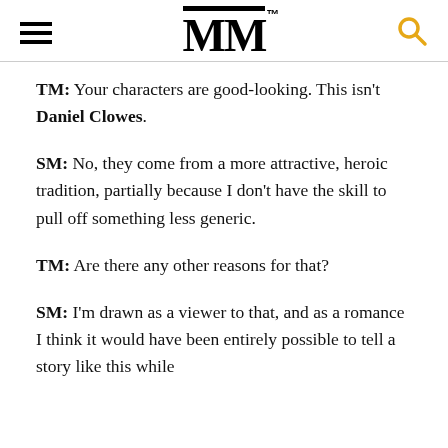MM
TM: Your characters are good-looking. This isn't Daniel Clowes.
SM: No, they come from a more attractive, heroic tradition, partially because I don't have the skill to pull off something less generic.
TM: Are there any other reasons for that?
SM: I'm drawn as a viewer to that, and as a romance I think it would have been entirely possible to tell a story like this while